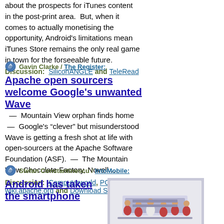about the prospects for iTunes content in the post-print area.  But, when it comes to actually monetising the opportunity, Android's limitations mean iTunes Store remains the only real game in town for the forseeable future.
Discussion:  SiliconANGLE and TeleRead
Gavin Clarke / The Register:
Apache open sourcers welcome Google's unwanted Wave
— Mountain View orphan finds home  —  Google's “clever” but misunderstood Wave is getting a fresh shot at life with open-sourcers at the Apache Software Foundation (ASF).  —  The Mountain View Chocolate Factory, Novell …
Discussion:  Computerworld, PC World, wiki.apache.org and Download Squad
Stefan Constantinescu / IntoMobile:
Android has taken the smartphone
[Figure (photo): Group photo of several people standing together, holding a banner, at what appears to be an event or competition]